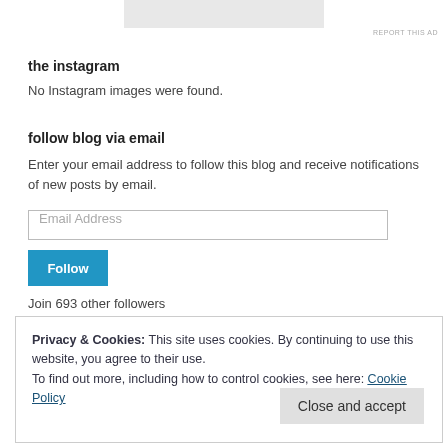[Figure (other): Gray ad banner rectangle at top center]
REPORT THIS AD
the instagram
No Instagram images were found.
follow blog via email
Enter your email address to follow this blog and receive notifications of new posts by email.
[Figure (other): Email Address input field]
[Figure (other): Follow button (blue)]
Join 693 other followers
Privacy & Cookies: This site uses cookies. By continuing to use this website, you agree to their use.
To find out more, including how to control cookies, see here: Cookie Policy
Close and accept